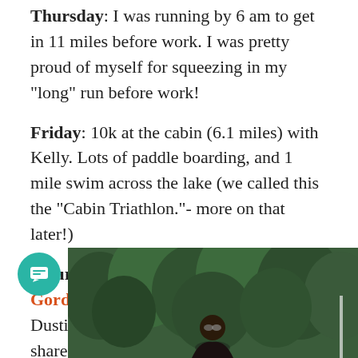Thursday: I was running by 6 am to get in 11 miles before work. I was pretty proud of myself for squeezing in my "long" run before work!
Friday: 10k at the cabin (6.1 miles) with Kelly. Lots of paddle boarding, and 1 mile swim across the lake (we called this the "Cabin Triathlon."- more on that later!)
Saturday: 1 mile warmup + 3.1 miles Gordon Good Neighbor Days 5k. Dustin got first place in his age group! I'll share more on this race in a race recap.
[Figure (photo): Photo of a person outdoors in front of green trees/forest background]